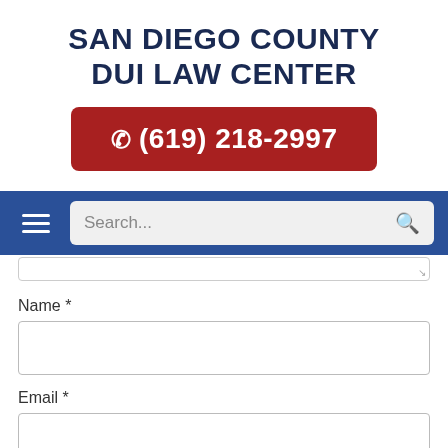SAN DIEGO COUNTY DUI LAW CENTER
(619) 218-2997
[Figure (screenshot): Navigation bar with hamburger menu icon and search box with search icon]
Name *
Email *
Website